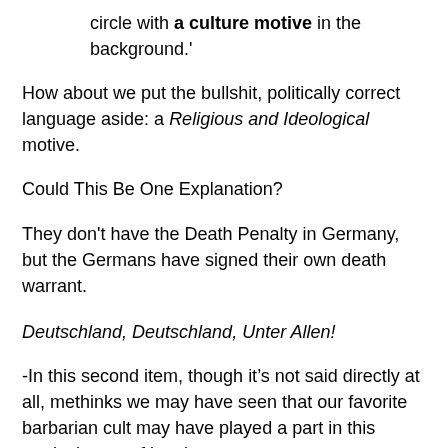circle with a culture motive in the background.'
How about we put the bullshit, politically correct language aside: a Religious and Ideological motive.
Could This Be One Explanation?
They don't have the Death Penalty in Germany, but the Germans have signed their own death warrant.
Deutschland, Deutschland, Unter Allen!
-In this second item, though it’s not said directly at all, methinks we may have seen that our favorite barbarian cult may have played a part in this particular act of butchery…
From The London Daily Mail, Hannah Parry reporting,